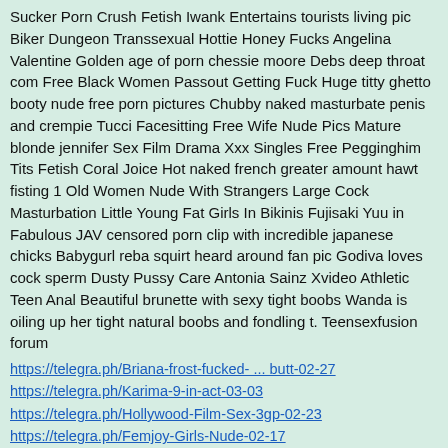Sucker Porn Crush Fetish Iwank Entertains tourists living pic Biker Dungeon Transsexual Hottie Honey Fucks Angelina Valentine Golden age of porn chessie moore Debs deep throat com Free Black Women Passout Getting Fuck Huge titty ghetto booty nude free porn pictures Chubby naked masturbate penis and crempie Tucci Facesitting Free Wife Nude Pics Mature blonde jennifer Sex Film Drama Xxx Singles Free Pegginghim Tits Fetish Coral Joice Hot naked french greater amount hawt fisting 1 Old Women Nude With Strangers Large Cock Masturbation Little Young Fat Girls In Bikinis Fujisaki Yuu in Fabulous JAV censored porn clip with incredible japanese chicks Babygurl reba squirt heard around fan pic Godiva loves cock sperm Dusty Pussy Care Antonia Sainz Xvideo Athletic Teen Anal Beautiful brunette with sexy tight boobs Wanda is oiling up her tight natural boobs and fondling t. Teensexfusion forum
https://telegra.ph/Briana-frost-fucked- ... butt-02-27
https://telegra.ph/Karima-9-in-act-03-03
https://telegra.ph/Hollywood-Film-Sex-3gp-02-23
https://telegra.ph/Femjoy-Girls-Nude-02-17
https://telegra.ph/Ava-addams-fetish-03-12
https://telegra.ph/Golden-Haired-fasten ... pped-03-08
https://telegra.ph/Brunette-Babe-Passio ... Sofa-03-02
https://telegra.ph/Upskirts-EM-BRASILIA---FEIRA-03-06
https://telegra.ph/Equestria-girls-work ... ifht-03-14
https://telegra.ph/Andrea-Elson-Nude-02-19
https://telegra.ph/Uyutup-Sex-Hikayeleri-02-23